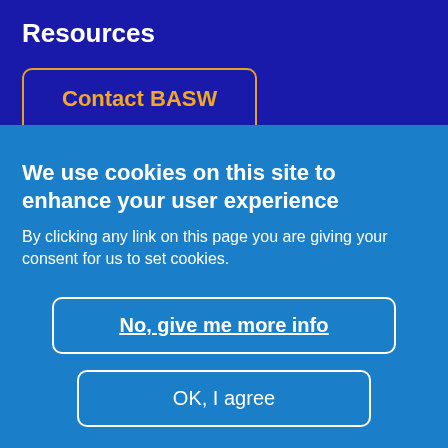Resources
Contact BASW
We use cookies on this site to enhance your user experience
By clicking any link on this page you are giving your consent for us to set cookies.
No, give me more info
OK, I agree